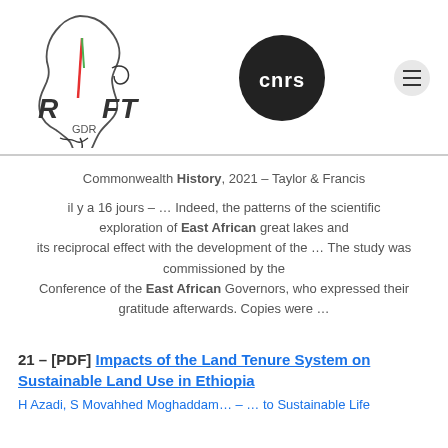[Figure (logo): GDR RIFT logo with Africa map outline and text RIFT GDR]
[Figure (logo): CNRS logo — black circle with white text cnrs]
Commonwealth History, 2021 – Taylor & Francis
il y a 16 jours – … Indeed, the patterns of the scientific exploration of East African great lakes and its reciprocal effect with the development of the … The study was commissioned by the Conference of the East African Governors, who expressed their gratitude afterwards. Copies were …
21 – [PDF] Impacts of the Land Tenure System on Sustainable Land Use in Ethiopia
H Azadi, S Movahhed Moghaddam… – … to Sustainable Life